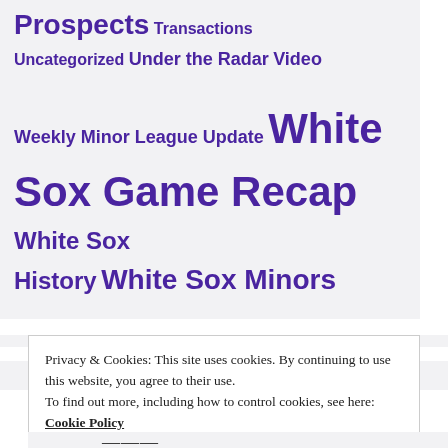Prospects Transactions Uncategorized Under the Radar Video Weekly Minor League Update White Sox Game Recap White Sox History White Sox Minors
RECENT POSTS
Privacy & Cookies: This site uses cookies. By continuing to use this website, you agree to their use. To find out more, including how to control cookies, see here: Cookie Policy